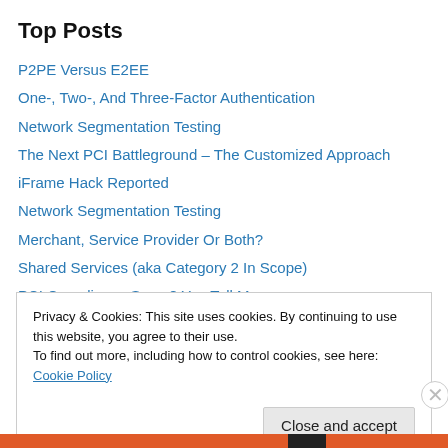Top Posts
P2PE Versus E2EE
One-, Two-, And Three-Factor Authentication
Network Segmentation Testing
The Next PCI Battleground – The Customized Approach
iFrame Hack Reported
Network Segmentation Testing
Merchant, Service Provider Or Both?
Shared Services (aka Category 2 In Scope)
PCI Compliance Scam? You Tell Me
2022 North American Community Meeting
Privacy & Cookies: This site uses cookies. By continuing to use this website, you agree to their use. To find out more, including how to control cookies, see here: Cookie Policy
Close and accept